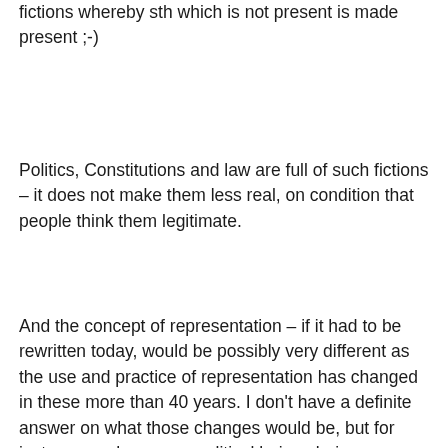fictions whereby sth which is not present is made present ;-)
Politics, Constitutions and law are full of such fictions – it does not make them less real, on condition that people think them legitimate.
And the concept of representation – if it had to be rewritten today, would be possibly very different as the use and practice of representation has changed in these more than 40 years. I don't have a definite answer on what those changes would be, but for instance we have new political beings being developed like the EU or we have some tens or hundreds of people asking themselves how to use sortition to represent larger populations as a democratic tool